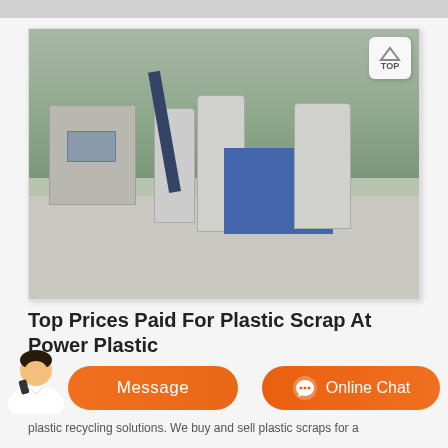[Figure (photo): Outdoor industrial facility with large cylindrical silos, a blue tarp/tarpaulin structure, a conveyor/crane, and a building on the left, set against a green hillside background. Paved or dusty ground in foreground.]
Top Prices Paid For Plastic Scrap At Power Plastic
[Figure (infographic): Orange chat/CTA bar with a customer service person on the left, a 'Message' button in orange, and an 'Online Chat' button with chat icon in orange on the right.]
plastic recycling solutions. We buy and sell plastic scraps for a